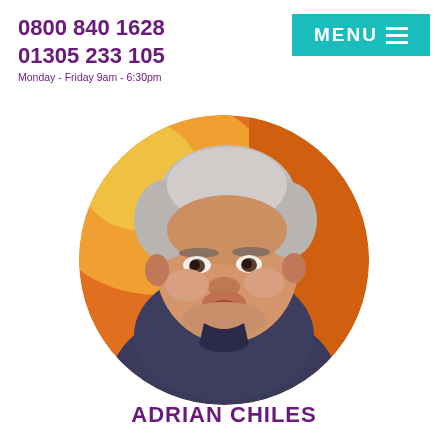0800 840 1628
01305 233 105
Monday - Friday 9am - 6:30pm
[Figure (photo): Circular cropped portrait photo of Adrian Chiles, a middle-aged man with grey hair wearing a dark blue shirt, against an orange and yellow background, shown in a TV studio setting.]
ADRIAN CHILES